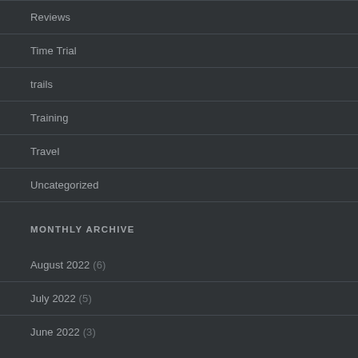Reviews
Time Trial
trails
Training
Travel
Uncategorized
MONTHLY ARCHIVE
August 2022 (6)
July 2022 (5)
June 2022 (3)